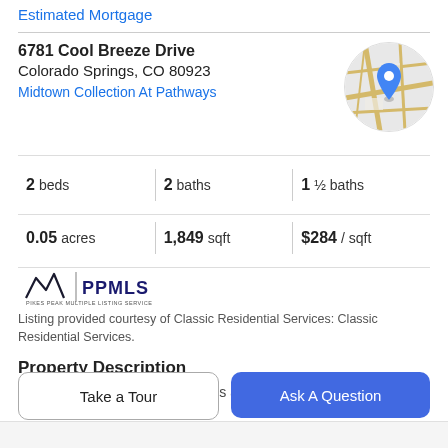Estimated Mortgage
6781 Cool Breeze Drive
Colorado Springs, CO 80923
Midtown Collection At Pathways
[Figure (map): Circular map thumbnail with a blue location pin marker, showing street map of the area]
2 beds | 2 baths | 1 ½ baths
0.05 acres | 1,849 sqft | $284 / sqft
[Figure (logo): Pikes Peak Multiple Listing Service (PPMLS) logo with mountain peaks icon]
Listing provided courtesy of Classic Residential Services: Classic Residential Services.
Property Description
Ready in September. The 222A is a 3 story urban style
Take a Tour
Ask A Question